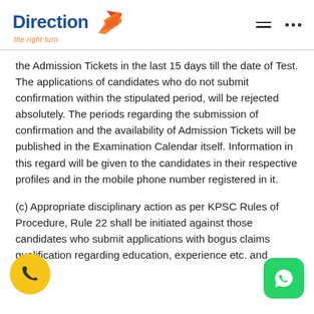[Figure (logo): Direction - the right turn logo with blue text and orange arrow graphic]
the Admission Tickets in the last 15 days till the date of Test. The applications of candidates who do not submit confirmation within the stipulated period, will be rejected absolutely. The periods regarding the submission of confirmation and the availability of Admission Tickets will be published in the Examination Calendar itself. Information in this regard will be given to the candidates in their respective profiles and in the mobile phone number registered in it.
(c) Appropriate disciplinary action as per KPSC Rules of Procedure, Rule 22 shall be initiated against those candidates who submit applications with bogus claims qualification regarding education, experience etc. and